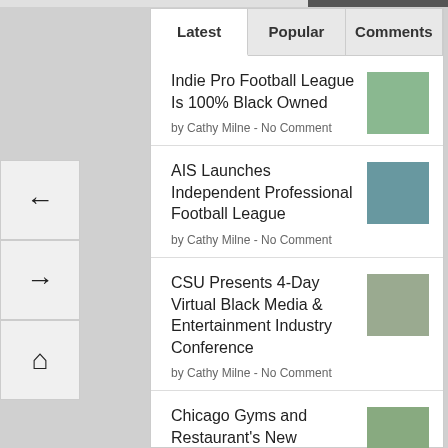Latest | Popular | Comments
Indie Pro Football League Is 100% Black Owned
by Cathy Milne - No Comment
AIS Launches Independent Professional Football League
by Cathy Milne - No Comment
CSU Presents 4-Day Virtual Black Media & Entertainment Industry Conference
by Cathy Milne - No Comment
Chicago Gyms and Restaurant's New Restrictions Apon Reopening
by Anay Amoah - No Comment
Trump Has a Message for Suburban Voters